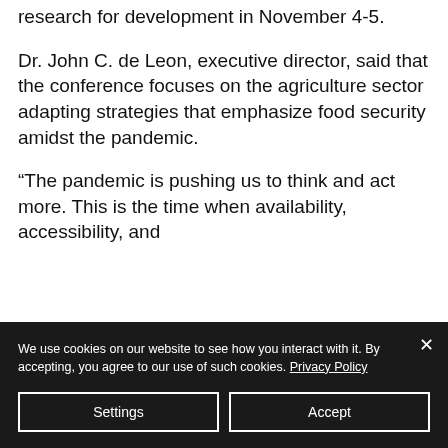research for development in November 4-5.
Dr. John C. de Leon, executive director, said that the conference focuses on the agriculture sector adapting strategies that emphasize food security amidst the pandemic.
“The pandemic is pushing us to think and act more. This is the time when availability, accessibility, and
We use cookies on our website to see how you interact with it. By accepting, you agree to our use of such cookies. Privacy Policy
Settings
Accept